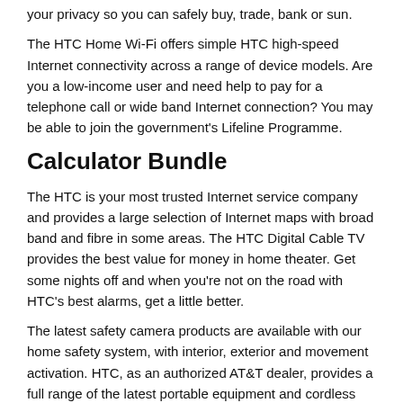your privacy so you can safely buy, trade, bank or sun.
The HTC Home Wi-Fi offers simple HTC high-speed Internet connectivity across a range of device models. Are you a low-income user and need help to pay for a telephone call or wide band Internet connection? You may be able to join the government's Lifeline Programme.
Calculator Bundle
The HTC is your most trusted Internet service company and provides a large selection of Internet maps with broad band and fibre in some areas. The HTC Digital Cable TV provides the best value for money in home theater. Get some nights off and when you're not on the road with HTC's best alarms, get a little better.
The latest safety camera products are available with our home safety system, with interior, exterior and movement activation. HTC, as an authorized AT&T dealer, provides a full range of the latest portable equipment and cordless schemes to satisfy the speech and communications needs of your handset. The HTC is your home town for the best home communications needs